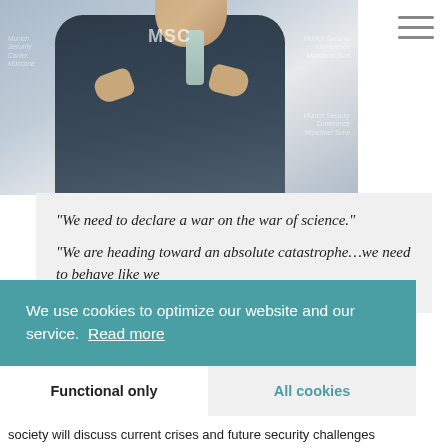[Figure (photo): Man in dark suit gesturing with hands, seated against Munich Security Conference branded backdrop]
“We need to declare a war on the war of science.”
“We are heading toward an absolute catastrophe…we need to behave like we
We use cookies to optimize our website and our service.  Read more
Functional only
All cookies
society will discuss current crises and future security challenges